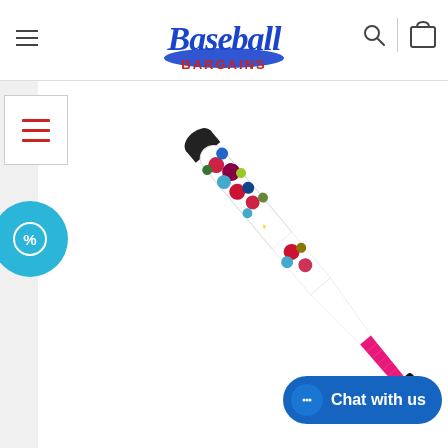Baseball Bargains - navigation header with logo, hamburger menu, search and cart icons
[Figure (screenshot): E-commerce product page screenshot showing a baseball/softball bat with colorful floral dot pattern on white barrel and pink handle grip, displayed on Baseball Bargains website. A red hamburger menu icon on left sidebar, a blue discount badge circle, and a 'Chat with us' button in blue at bottom right.]